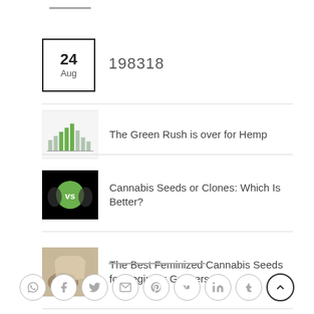198318
The Green Rush is over for Hemp
Cannabis Seeds or Clones: Which Is Better?
The Best Feminized Cannabis Seeds for Beginner Growers
The Best Temperature for Cannabis Seedlings